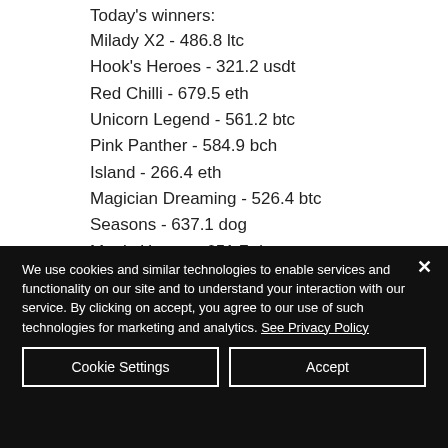Today's winners:
Milady X2 - 486.8 ltc
Hook's Heroes - 321.2 usdt
Red Chilli - 679.5 eth
Unicorn Legend - 561.2 btc
Pink Panther - 584.9 bch
Island - 266.4 eth
Magician Dreaming - 526.4 btc
Seasons - 637.1 dog
Magic Hunter - 651.7 dog
Blossom Garden - 642.5 usdt
Miss Fortune - 339.5 bch
Pompe Treasures - 354.2 usdt
We use cookies and similar technologies to enable services and functionality on our site and to understand your interaction with our service. By clicking on accept, you agree to our use of such technologies for marketing and analytics. See Privacy Policy
Cookie Settings
Accept